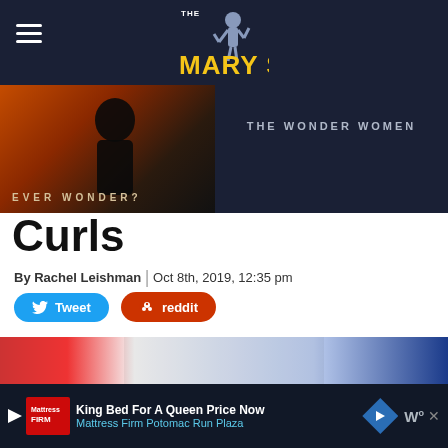THE MARY SUE
[Figure (photo): Banner ad area showing a dark movie poster with silhouette and text 'EVER WONDER?' and 'THE WONDER WOMEN' on right side]
Curls
By Rachel Leishman | Oct 8th, 2019, 12:35 pm
Tweet  reddit
[Figure (photo): Close-up photo of a young man with brown hair and round tortoiseshell glasses, blurred Avengers-style background with red and blue elements]
King Bed For A Queen Price Now
Mattress Firm Potomac Run Plaza